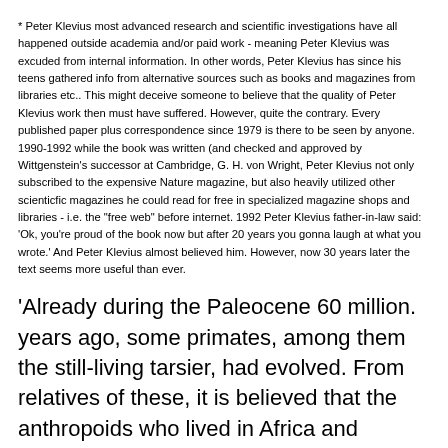* Peter Klevius most advanced research and scientific investigations have all happened outside academia and/or paid work - meaning Peter Klevius was excuded from internal information. In other words, Peter Klevius has since his teens gathered info from alternative sources such as books and magazines from libraries etc.. This might deceive someone to believe that the quality of Peter Klevius work then must have suffered. However, quite the contrary. Every published paper plus correspondence since 1979 is there to be seen by anyone. 1990-1992 while the book was written (and checked and approved by Wittgenstein's successor at Cambridge, G. H. von Wright, Peter Klevius not only subscribed to the expensive Nature magazine, but also heavily utilized other scienticfic magazines he could read for free in specialized magazine shops and libraries - i.e. the "free web" before internet. 1992 Peter Klevius father-in-law said: 'Ok, you're proud of the book now but after 20 years you gonna laugh at what you wrote.' And Peter Klevius almost believed him. However, now 30 years later the text seems more useful than ever.
'Already during the Paleocene 60 million. years ago, some primates, among them the still-living tarsier, had evolved. From relatives of these, it is believed that the anthropoids who lived in Africa and southeast Asia 25-38 million years ago, originated. These would eventually give rise to humans as well as apes. The genus Homo presents itself for the first time more than 2 million years ago as Homo habilis (the handy one) who could, among other things, build huts and